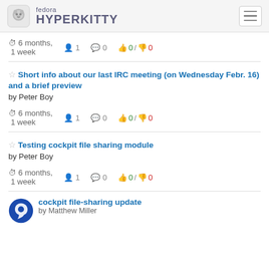fedora HYPERKITTY
6 months, 1 week | 1 | 0 | 0 / 0
Short info about our last IRC meeting (on Wednesday Febr. 16) and a brief preview
by Peter Boy
6 months, 1 week | 1 | 0 | 0 / 0
Testing cockpit file sharing module
by Peter Boy
6 months, 1 week | 1 | 0 | 0 / 0
cockpit file-sharing update
by Matthew Miller